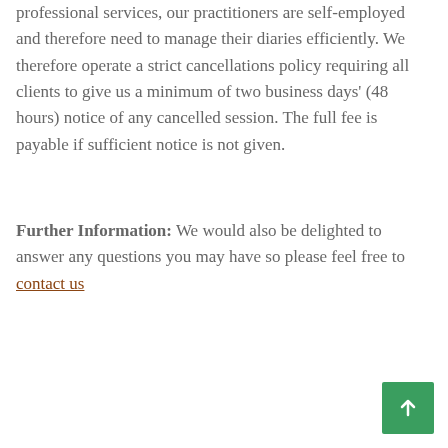professional services, our practitioners are self-employed and therefore need to manage their diaries efficiently. We therefore operate a strict cancellations policy requiring all clients to give us a minimum of two business days' (48 hours) notice of any cancelled session. The full fee is payable if sufficient notice is not given.
Further Information: We would also be delighted to answer any questions you may have so please feel free to contact us